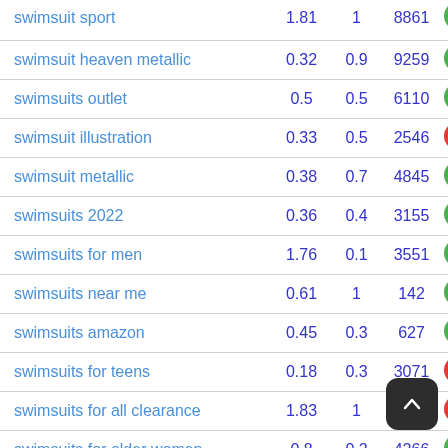| keyword | col1 | col2 | col3 | badge |
| --- | --- | --- | --- | --- |
| swimsuit sport | 1.81 | 1 | 8861 | green |
| swimsuit heaven metallic | 0.32 | 0.9 | 9259 | green |
| swimsuits outlet | 0.5 | 0.5 | 6110 | green |
| swimsuit illustration | 0.33 | 0.5 | 2546 | red |
| swimsuit metallic | 0.38 | 0.7 | 4845 | green |
| swimsuits 2022 | 0.36 | 0.4 | 3155 | green |
| swimsuits for men | 1.76 | 0.1 | 3551 | green |
| swimsuits near me | 0.61 | 1 | 142 | green |
| swimsuits amazon | 0.45 | 0.3 | 627 | green |
| swimsuits for teens | 0.18 | 0.3 | 3071 | red |
| swimsuits for all clearance | 1.83 | 1 | 2425 | red |
| swimsuits for older women | 0.8 | 0.2 | 4266 | green |